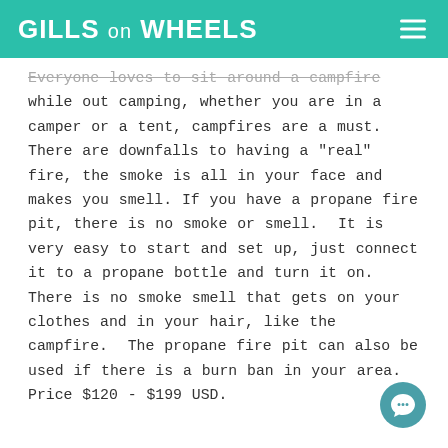GILLS on WHEELS
Everyone loves to sit around a campfire while out camping, whether you are in a camper or a tent, campfires are a must. There are downfalls to having a "real" fire, the smoke is all in your face and makes you smell. If you have a propane fire pit, there is no smoke or smell.  It is very easy to start and set up, just connect it to a propane bottle and turn it on.  There is no smoke smell that gets on your clothes and in your hair, like the campfire.  The propane fire pit can also be used if there is a burn ban in your area.  Price $120 - $199 USD.
[Figure (other): Teal circular chat/message button icon in bottom right corner]